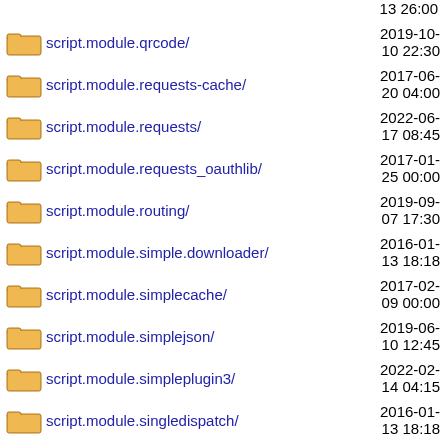script.module.qrcode/ 2019-10-10 22:30
script.module.requests-cache/ 2017-06-20 04:00
script.module.requests/ 2022-06-17 08:45
script.module.requests_oauthlib/ 2017-01-25 00:00
script.module.routing/ 2019-09-07 17:30
script.module.simple.downloader/ 2016-01-13 18:18
script.module.simplecache/ 2017-02-09 00:00
script.module.simplejson/ 2019-06-10 12:45
script.module.simpleplugin3/ 2022-02-14 04:15
script.module.singledispatch/ 2016-01-13 18:18
script.module.six/ 2019-12-12 14:30